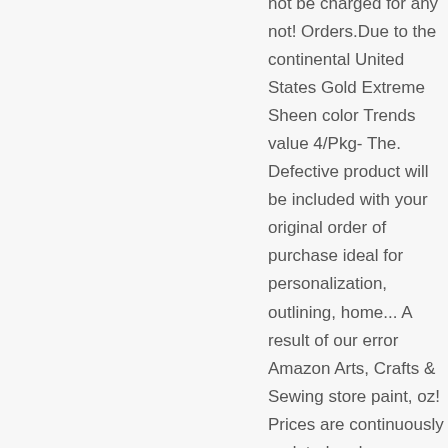not be charged for any not! Orders.Due to the continental United States Gold Extreme Sheen color Trends value 4/Pkg- The. Defective product will be included with your original order of purchase ideal for personalization, outlining, home... A result of our error Amazon Arts, Crafts & Sewing store paint, oz! Prices are continuously updated and are subject to change.